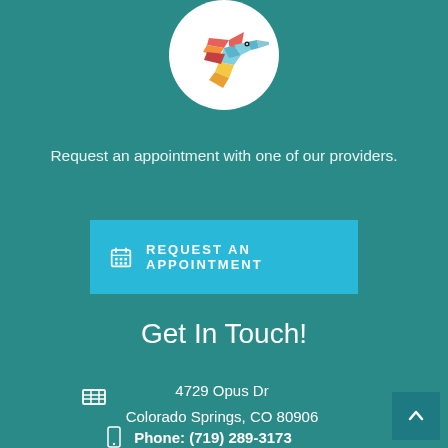[Figure (logo): Colorful hummingbird logo inside a white circle]
Request an appointment with one of our providers.
REQUEST AN APPOINTMENT
Get In Touch!
4729 Opus Dr
Colorado Springs, CO 80906
Phone: (719) 289-3173